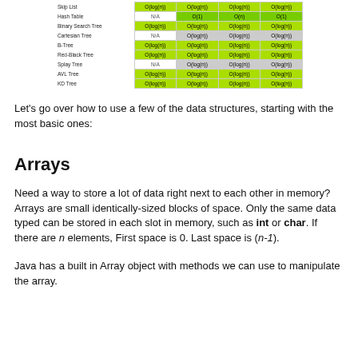|  | Col1 | Col2 | Col3 | Col4 |
| --- | --- | --- | --- | --- |
| Skip List | O(log(n)) | O(log(n)) | O(log(n)) | O(log(n)) |
| Hash Table | N/A | O(1) | O(n) | O(1) |
| Binary Search Tree | O(log(n)) | O(log(n)) | O(log(n)) | O(log(n)) |
| Cartesian Tree | N/A | O(log(n)) | O(log(n)) | O(log(n)) |
| B-Tree | O(log(n)) | O(log(n)) | O(log(n)) | O(log(n)) |
| Red-Black Tree | O(log(n)) | O(log(n)) | O(log(n)) | O(log(n)) |
| Splay Tree | N/A | O(log(n)) | O(log(n)) | O(log(n)) |
| AVL Tree | O(log(n)) | O(log(n)) | O(log(n)) | O(log(n)) |
| KD Tree | O(log(n)) | O(log(n)) | O(log(n)) | O(log(n)) |
Let's go over how to use a few of the data structures, starting with the most basic ones:
Arrays
Need a way to store a lot of data right next to each other in memory? Arrays are small identically-sized blocks of space. Only the same data typed can be stored in each slot in memory, such as int or char. If there are n elements, First space is 0. Last space is (n-1).
Java has a built in Array object with methods we can use to manipulate the array.